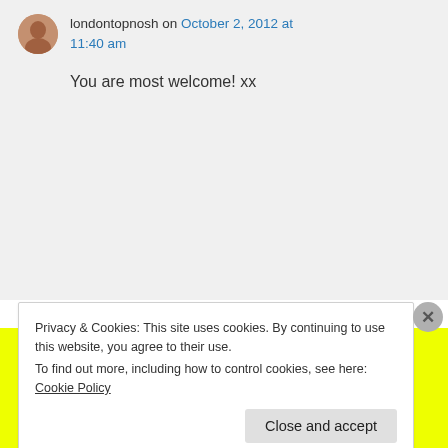londontopnosh on October 2, 2012 at 11:40 am
You are most welcome! xx
[Figure (infographic): Yellow background banner with bold black text reading 'Discuss, Collaborate, P2.']
Privacy & Cookies: This site uses cookies. By continuing to use this website, you agree to their use.
To find out more, including how to control cookies, see here: Cookie Policy
Close and accept